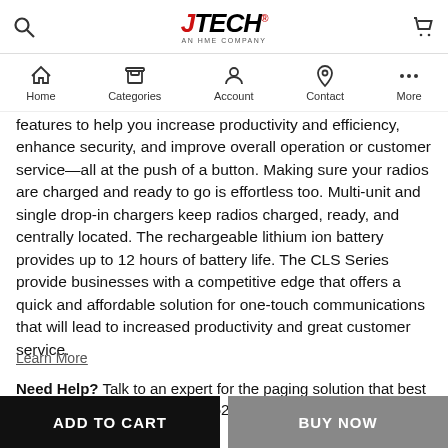JTECH® AN HME COMPANY [search icon] [cart icon]
[Figure (other): Mobile app navigation bar with icons: Home, Categories, Account, Contact, More]
features to help you increase productivity and efficiency, enhance security, and improve overall operation or customer service—all at the push of a button. Making sure your radios are charged and ready to go is effortless too. Multi-unit and single drop-in chargers keep radios charged, ready, and centrally located. The rechargeable lithium ion battery provides up to 12 hours of battery life. The CLS Series provide businesses with a competitive edge that offers a quick and affordable solution for one-touch communications that will lead to increased productivity and great customer service.
Learn More
Need Help? Talk to an expert for the paging solution that best meets your needs 1-800-321-6221